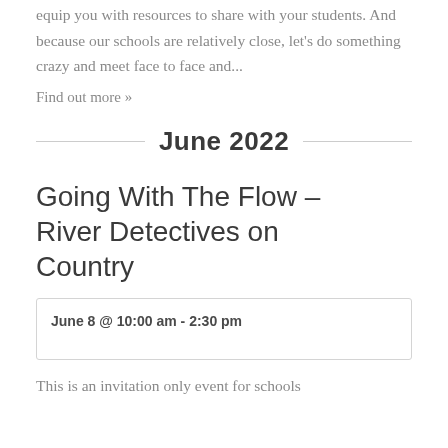equip you with resources to share with your students.  And because our schools are relatively close, let's do something crazy and meet face to face and...
Find out more »
June 2022
Going With The Flow – River Detectives on Country
June 8 @ 10:00 am - 2:30 pm
This is an invitation only event for schools